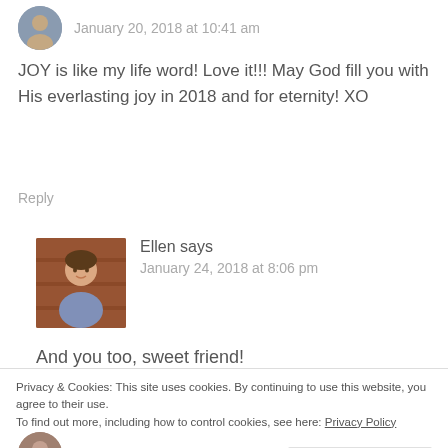January 20, 2018 at 10:41 am
JOY is like my life word! Love it!!! May God fill you with His everlasting joy in 2018 and for eternity! XO
Reply
Ellen says
January 24, 2018 at 8:06 pm
And you too, sweet friend!
Privacy & Cookies: This site uses cookies. By continuing to use this website, you agree to their use.
To find out more, including how to control cookies, see here: Privacy Policy
Close and accept
Barbie says